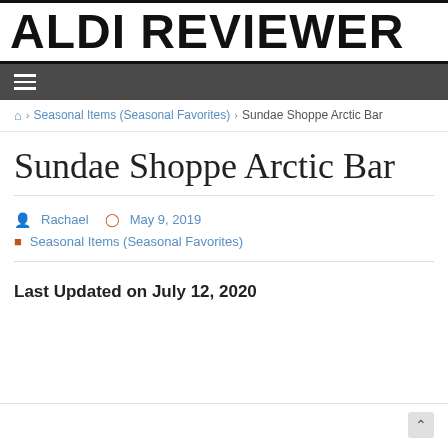ALDI REVIEWER
☰
🏠 › Seasonal Items (Seasonal Favorites) › Sundae Shoppe Arctic Bar
Sundae Shoppe Arctic Bar
Rachael  May 9, 2019
Seasonal Items (Seasonal Favorites)
Last Updated on July 12, 2020